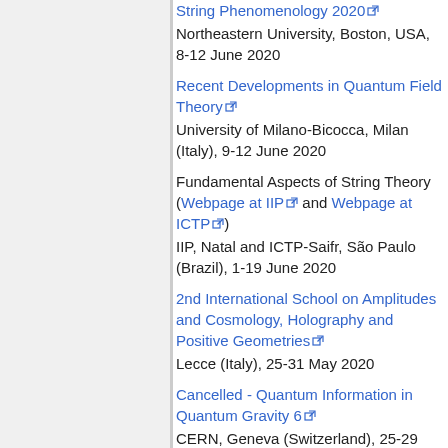String Phenomenology 2020 [ext link]
Northeastern University, Boston, USA, 8-12 June 2020
Recent Developments in Quantum Field Theory [ext link]
University of Milano-Bicocca, Milan (Italy), 9-12 June 2020
Fundamental Aspects of String Theory (Webpage at IIP [ext link] and Webpage at ICTP [ext link])
IIP, Natal and ICTP-Saifr, São Paulo (Brazil), 1-19 June 2020
2nd International School on Amplitudes and Cosmology, Holography and Positive Geometries [ext link]
Lecce (Italy), 25-31 May 2020
Cancelled - Quantum Information in Quantum Gravity 6 [ext link]
CERN, Geneva (Switzerland), 25-29